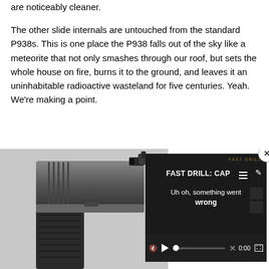are noticeably cleaner.
The other slide internals are untouched from the standard P938s. This is one place the P938 falls out of the sky like a meteorite that not only smashes through our roof, but sets the whole house on fire, burns it to the ground, and leaves it an uninhabitable radioactive wasteland for five centuries. Yeah. We're making a point.
[Figure (photo): Close-up photograph of the top/rear of a SIG Sauer P938 pistol, showing the slide, rear sight, and grip texture, in a dark metallic finish. Overlaid with a video player widget showing 'FAST DRILL: CAP...' with an error message 'Uh oh, something went wrong' and playback controls at 0:00.]